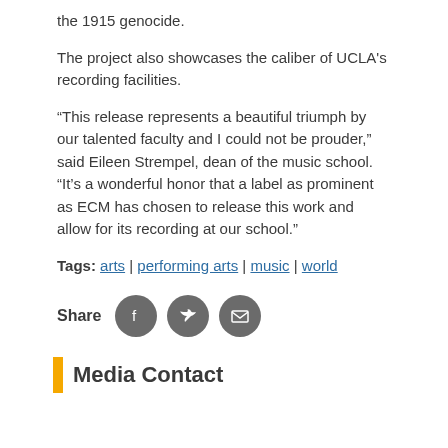the 1915 genocide.
The project also showcases the caliber of UCLA's recording facilities.
“This release represents a beautiful triumph by our talented faculty and I could not be prouder,” said Eileen Strempel, dean of the music school. “It’s a wonderful honor that a label as prominent as ECM has chosen to release this work and allow for its recording at our school.”
Tags: arts | performing arts | music | world
[Figure (infographic): Share icons row: Facebook, Twitter, and email/print circular gray buttons]
Media Contact